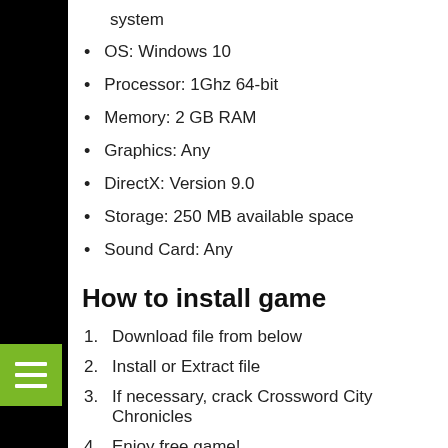system
OS: Windows 10
Processor: 1Ghz 64-bit
Memory: 2 GB RAM
Graphics: Any
DirectX: Version 9.0
Storage: 250 MB available space
Sound Card: Any
How to install game
Download file from below
Install or Extract file
If necessary, crack Crossword City Chronicles
Enjoy free game!
Download link: